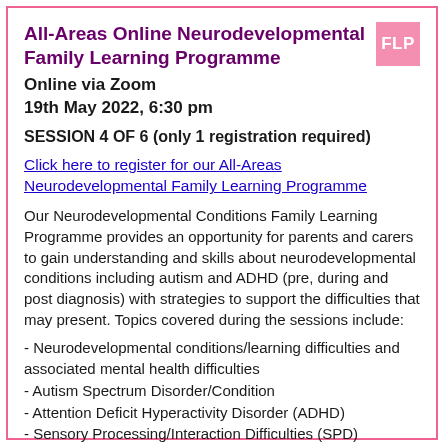All-Areas Online Neurodevelopmental Family Learning Programme
Online via Zoom
19th May 2022, 6:30 pm
SESSION 4 OF 6 (only 1 registration required)
Click here to register for our All-Areas Neurodevelopmental Family Learning Programme
Our Neurodevelopmental Conditions Family Learning Programme provides an opportunity for parents and carers to gain understanding and skills about neurodevelopmental conditions including autism and ADHD (pre, during and post diagnosis) with strategies to support the difficulties that may present. Topics covered during the sessions include:
- Neurodevelopmental conditions/learning difficulties and associated mental health difficulties
- Autism Spectrum Disorder/Condition
- Attention Deficit Hyperactivity Disorder (ADHD)
- Sensory Processing/Interaction Difficulties (SPD)